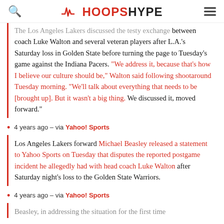HoopsHype
The Los Angeles Lakers discussed the testy exchange between coach Luke Walton and several veteran players after L.A.'s Saturday loss in Golden State before turning the page to Tuesday's game against the Indiana Pacers. "We address it, because that's how I believe our culture should be," Walton said following shootaround Tuesday morning. "We'll talk about everything that needs to be [brought up]. But it wasn't a big thing. We discussed it, moved forward."
4 years ago – via Yahoo! Sports
Los Angeles Lakers forward Michael Beasley released a statement to Yahoo Sports on Tuesday that disputes the reported postgame incident he allegedly had with head coach Luke Walton after Saturday night's loss to the Golden State Warriors.
4 years ago – via Yahoo! Sports
Beasley, in addressing the situation for the first time...